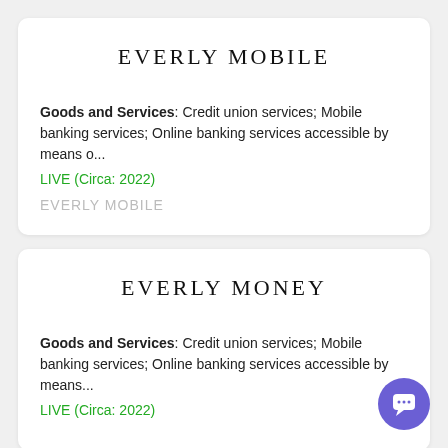EVERLY MOBILE
Goods and Services: Credit union services; Mobile banking services; Online banking services accessible by means o...
LIVE (Circa: 2022)
EVERLY MOBILE
EVERLY MONEY
Goods and Services: Credit union services; Mobile banking services; Online banking services accessible by means...
LIVE (Circa: 2022)